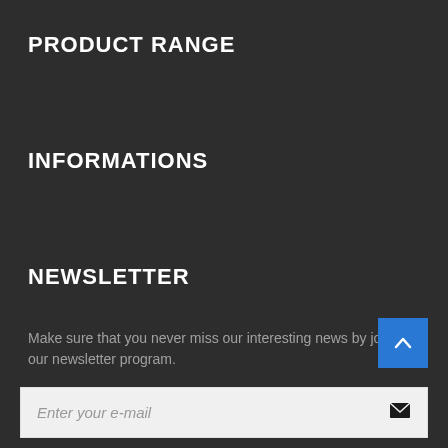PRODUCT RANGE
INFORMATIONS
NEWSLETTER
Make sure that you never miss our interesting news by joining our newsletter program.
Enter your e-mail